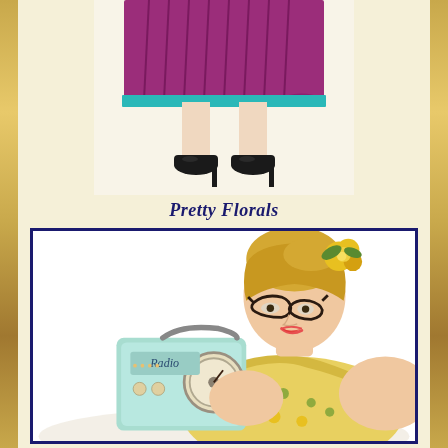[Figure (photo): Lower half of a woman wearing a purple/magenta pleated skirt and black high heeled shoes, retro 1950s style fashion]
Pretty Florals
[Figure (photo): Blonde woman in 1950s pin-up style wearing a yellow floral dress and cat-eye glasses, holding a vintage mint green Radio brand portable radio, with yellow flowers in her hair]